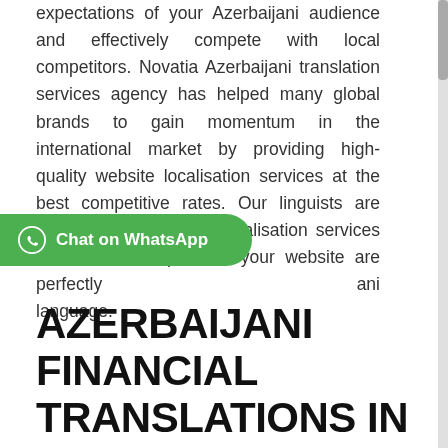expectations of your Azerbaijani audience and effectively compete with local competitors. Novatia Azerbaijani translation services agency has helped many global brands to gain momentum in the international market by providing high-quality website localisation services at the best competitive rates. Our linguists are experts in all types of localisation services and ensure all parts of your website are perfectly adapted in the Azerbaijani language.
[Figure (other): Green WhatsApp chat button with WhatsApp logo icon and text 'Chat on WhatsApp']
AZERBAIJANI FINANCIAL TRANSLATIONS IN ONITSHA